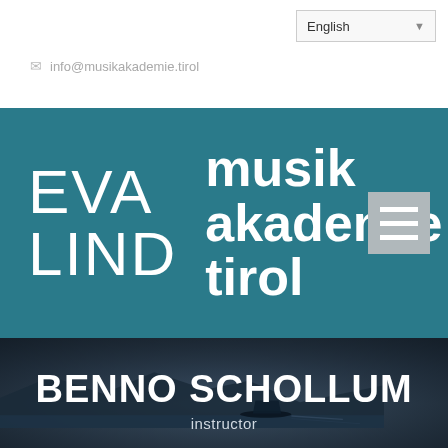English
info@musikakademie.tirol
[Figure (logo): Eva Lind Musikakademie Tirol logo on teal background with hamburger menu icon]
[Figure (photo): Dark moody photo of mountain lake with boat silhouette]
BENNO SCHOLLUM
instructor